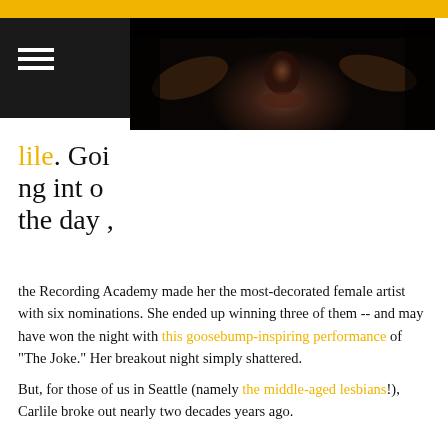[Figure (photo): Dark close-up portrait of a person's face illuminated from below, hands visible near chin, dark moody lighting]
lile. Going into the day,
the Recording Academy made her the most-decorated female artist with six nominations. She ended up winning three of them -- and may have won the night with this goosebump-inspiring performance of "The Joke." Her breakout night simply shattered.
But, for those of us in Seattle (namely the middle-aged lesbians!), Carlile broke out nearly two decades years ago.